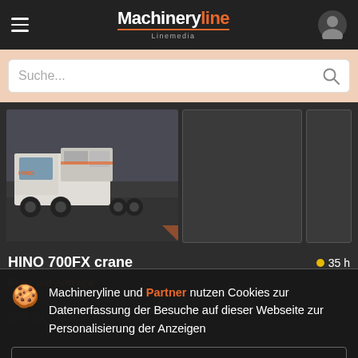Machineryline Linemedia
Suche...
[Figure (photo): Photo of a HINO 700FX crane truck parked in an industrial area, white cab with equipment mounted on the back. Two additional placeholder gray boxes for secondary product images.]
HINO 700FX crane
35 h
Preis auf Anfrage
Machineryline und Partner nutzen Cookies zur Datenerfassung der Besuche auf dieser Webseite zur Personalisierung der Anzeigen
Details
Akzeptieren und schließen